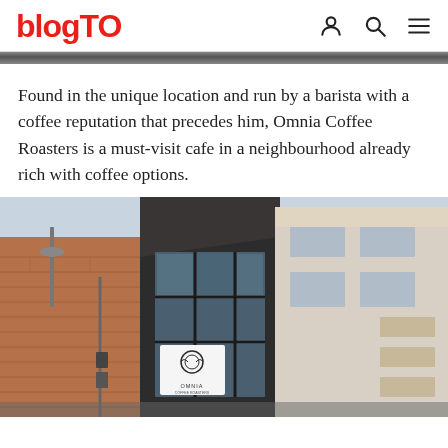blogTO
Found in the unique location and run by a barista with a coffee reputation that precedes him, Omnia Coffee Roasters is a must-visit cafe in a neighbourhood already rich with coffee options.
[Figure (photo): Exterior photo of Omnia Coffee Roasters building: a brick and dark-painted industrial building with large black-framed glass windows and the Omnia Coffee Roasters logo sign visible on the facade. Taken in winter.]